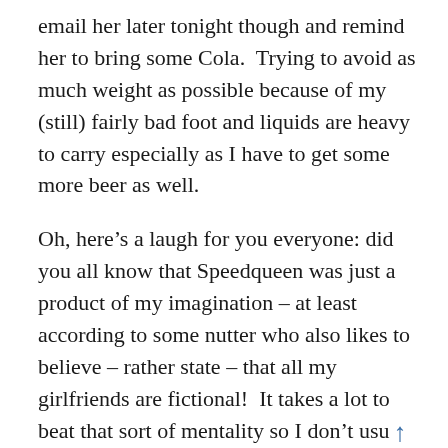email her later tonight though and remind her to bring some Cola.  Trying to avoid as much weight as possible because of my (still) fairly bad foot and liquids are heavy to carry especially as I have to get some more beer as well.
Oh, here's a laugh for you everyone: did you all know that Speedqueen was just a product of my imagination – at least according to some nutter who also likes to believe – rather state – that all my girlfriends are fictional!  It takes a lot to beat that sort of mentality so I don't usu [↑] bother. Although I didn't mean that Speedqueen is my girlfriend (no offence sweetheart!) But she is a close companion and a